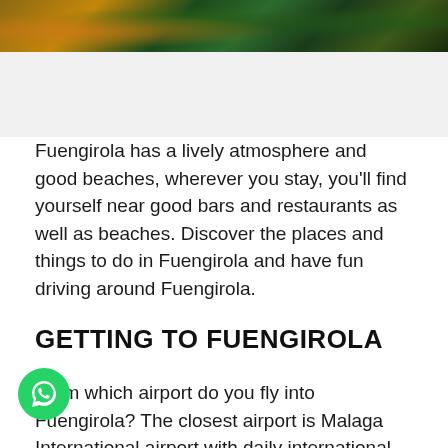[Figure (photo): Banner photo showing nighttime aerial or street views of Fuengirola with warm orange and green tones]
Fuengirola has a lively atmosphere and good beaches, wherever you stay, you'll find yourself near good bars and restaurants as well as beaches. Discover the places and things to do in Fuengirola and have fun driving around Fuengirola.
GETTING TO FUENGIROLA
From which airport do you fly into Fuengirola? The closest airport is Malaga International airport with daily international connections on top flights